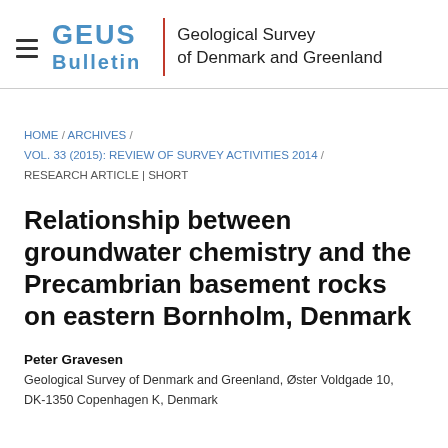GEUS Bulletin | Geological Survey of Denmark and Greenland
HOME / ARCHIVES / VOL. 33 (2015): REVIEW OF SURVEY ACTIVITIES 2014 / RESEARCH ARTICLE | SHORT
Relationship between groundwater chemistry and the Precambrian basement rocks on eastern Bornholm, Denmark
Peter Gravesen
Geological Survey of Denmark and Greenland, Øster Voldgade 10, DK-1350 Copenhagen K, Denmark